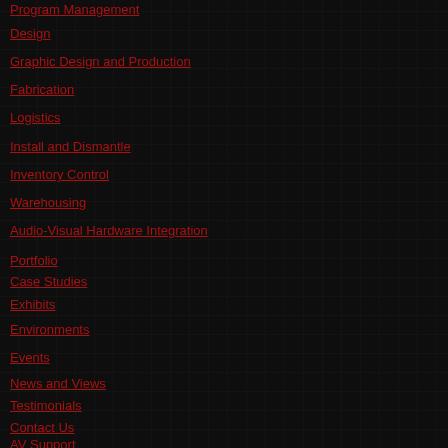Program Management
Design
Graphic Design and Production
Fabrication
Logistics
Install and Dismantle
Inventory Control
Warehousing
Audio-Visual Hardware Integration
Portfolio
Case Studies
Exhibits
Environments
Events
News and Views
Testimonials
Contact Us
AV Support